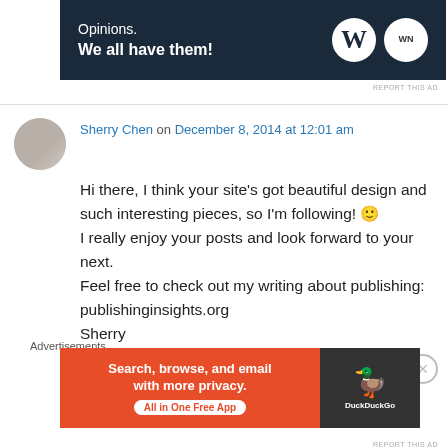[Figure (other): Top advertisement banner with dark navy background. Text reads 'Opinions. We all have them!' with WordPress and WN logos.]
REPORT THIS AD
Sherry Chen on December 8, 2014 at 12:01 am
Hi there, I think your site’s got beautiful design and such interesting pieces, so I’m following! 🙂 I really enjoy your posts and look forward to your next.
Feel free to check out my writing about publishing: publishinginsights.org
Sherry
★ Like
Advertisements
[Figure (other): DuckDuckGo advertisement banner. Orange background with text 'Search, browse, and email with more privacy. All in One Free App' and DuckDuckGo duck logo on dark right panel.]
REPORT THIS AD